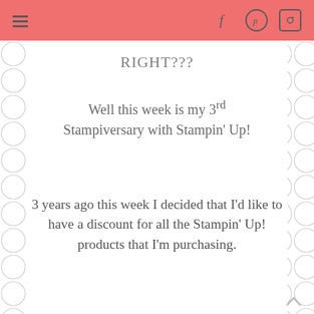RIGHT???
Well this week is my 3rd Stampiversary with Stampin' Up!
3 years ago this week I decided that I'd like to have a discount for all the Stampin' Up! products that I'm purchasing.